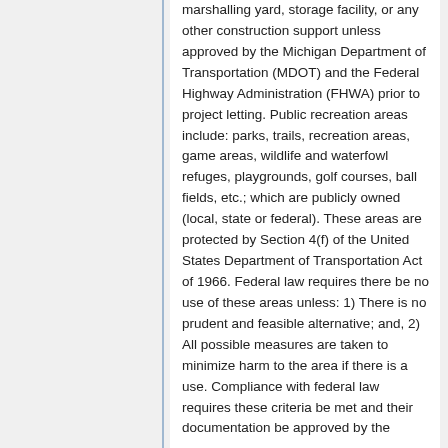marshalling yard, storage facility, or any other construction support unless approved by the Michigan Department of Transportation (MDOT) and the Federal Highway Administration (FHWA) prior to project letting. Public recreation areas include: parks, trails, recreation areas, game areas, wildlife and waterfowl refuges, playgrounds, golf courses, ball fields, etc.; which are publicly owned (local, state or federal). These areas are protected by Section 4(f) of the United States Department of Transportation Act of 1966. Federal law requires there be no use of these areas unless: 1) There is no prudent and feasible alternative; and, 2) All possible measures are taken to minimize harm to the area if there is a use. Compliance with federal law requires these criteria be met and their documentation be approved by the